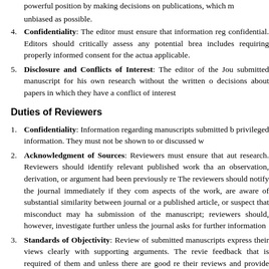powerful position by making decisions on publications, which must be as unbiased as possible.
Confidentiality: The editor must ensure that information regarding manuscripts submitted to the journal remains confidential. Editors should critically assess any potential breach of confidentiality, which includes requiring properly informed consent for the actual use of the information where applicable.
Disclosure and Conflicts of Interest: The editor of the Journal should not use a submitted manuscript for his own research without the written consent of the authors. Editors should make decisions about papers in which they have a conflict of interest
Duties of Reviewers
Confidentiality: Information regarding manuscripts submitted by authors is confidential privileged information. They must not be shown to or discussed with others except as authorized.
Acknowledgment of Sources: Reviewers must ensure that authors have acknowledged all sources of data used in the research. Reviewers should identify relevant published work that has not been cited by the authors. If an observation, derivation, or argument had been previously reported, the reviewer must cite the relevant source. The reviewers should notify the journal immediately if they come across any irregularities, have concerns about ethical aspects of the work, are aware of substantial similarity between the manuscript and a concurrent submission to another journal or a published article, or suspect that misconduct may have occurred during either the research or the writing and submission of the manuscript; reviewers should, however, keep their concerns confidential and not personally investigate further unless the journal asks for further information or advice.
Standards of Objectivity: Review of submitted manuscripts must be done objectively and the reviewers must express their views clearly with supporting arguments. The reviewers should perform the review to the standard of feedback that is required of them and unless there are good reasons not to, the reviewers should complete their reviews and provide feedback that will help the authors to improve their manuscript. Reviewers must make it clear which suggested additional investigations are essential to support claims made in the manuscript